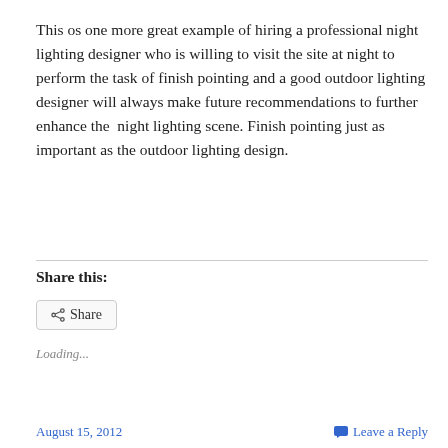This os one more great example of hiring a professional night lighting designer who is willing to visit the site at night to perform the task of finish pointing and a good outdoor lighting designer will always make future recommendations to further enhance the  night lighting scene. Finish pointing just as important as the outdoor lighting design.
Share this:
Loading...
August 15, 2012    Leave a Reply